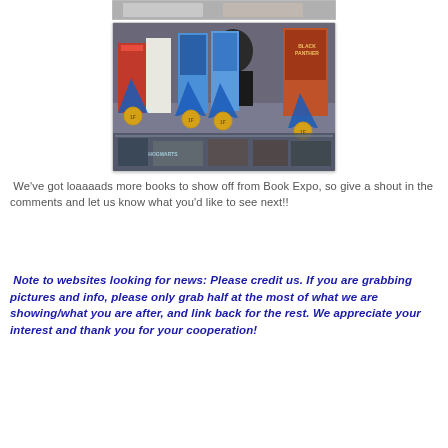[Figure (photo): A partial image strip at the top of the page, partially visible, showing a cropped view of what appears to be a book expo display.]
[Figure (photo): A photograph of a book expo booth display showing multiple books with blue ribbon medal awards hanging from them, including titles like Mundo and Black Panther, displayed on a glass case with a person (woman in black) standing behind the display.]
We've got loaaaads more books to show off from Book Expo, so give a shout in the comments and let us know what you'd like to see next!!
Note to websites looking for news: Please credit us. If you are grabbing pictures and info, please only grab half at the most of what we are showing/what you are after, and link back for the rest. We appreciate your interest and thank you for your cooperation!